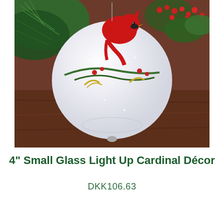[Figure (photo): A white glass ball ornament with a red cardinal bird perched on a winter branch with holly berries and pine needles, displayed on a wooden surface with green pine branches and red berries in the background.]
4” Small Glass Light Up Cardinal Décor
DKK106.63